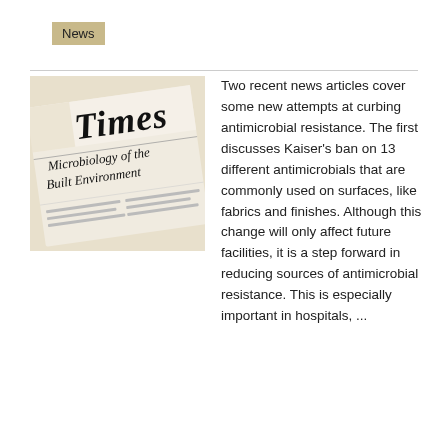News
[Figure (photo): A newspaper with the title 'Times' visible at the top and text 'Microbiology of the Built Environment' visible below.]
Two recent news articles cover some new attempts at curbing antimicrobial resistance. The first discusses Kaiser's ban on 13 different antimicrobials that are commonly used on surfaces, like fabrics and finishes. Although this change will only affect future facilities, it is a step forward in reducing sources of antimicrobial resistance. This is especially important in hospitals, ...